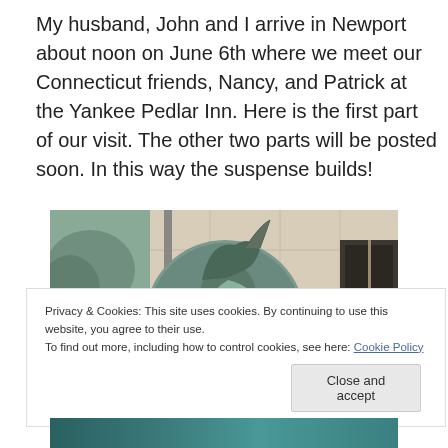My husband, John and I arrive in Newport about noon on June 6th where we meet our Connecticut friends, Nancy, and Patrick at the Yankee Pedlar Inn. Here is the first part of our visit. The other two parts will be posted soon. In this way the suspense builds!
[Figure (photo): A bronze medallion relief portrait of a historical figure wearing a military uniform with plumed hat, mounted on a building facade, with trees and a dark window visible in the background.]
Privacy & Cookies: This site uses cookies. By continuing to use this website, you agree to their use.
To find out more, including how to control cookies, see here: Cookie Policy
Close and accept